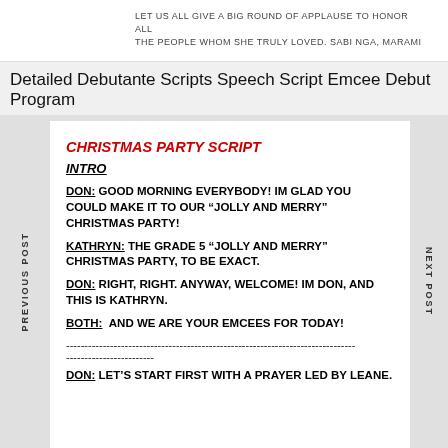LET US ALL GIVE A BIG ROUND OF APPLAUSE TO HONOR ALL THE PEOPLE WHOM SHE TRULY LOVED. SABI NGA, MARAMI
Detailed Debutante Scripts Speech Script Emcee Debut Program
PREVIOUS POST
NEXT POST
CHRISTMAS PARTY SCRIPT
INTRO
DON: GOOD MORNING EVERYBODY! IM GLAD YOU COULD MAKE IT TO OUR “JOLLY AND MERRY” CHRISTMAS PARTY!
KATHRYN: THE GRADE 5 “JOLLY AND MERRY” CHRISTMAS PARTY, TO BE EXACT.
DON: RIGHT, RIGHT. ANYWAY, WELCOME! IM DON, AND THIS IS KATHRYN.
BOTH: AND WE ARE YOUR EMCEES FOR TODAY!
--------------------------------------------------------------------------------------------
------------------------
DON: LET’S START FIRST WITH A PRAYER LED BY LEANE.